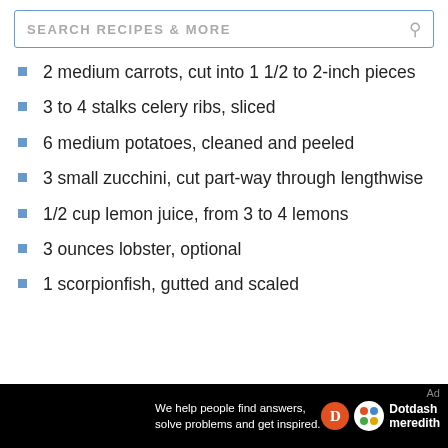SEARCH RECIPES & MORE
2 medium carrots, cut into 1 1/2 to 2-inch pieces
3 to 4 stalks celery ribs, sliced
6 medium potatoes, cleaned and peeled
3 small zucchini, cut part-way through lengthwise
1/2 cup lemon juice, from 3 to 4 lemons
3 ounces lobster, optional
1 scorpionfish, gutted and scaled
[Figure (logo): Dotdash Meredith advertisement banner: 'We help people find answers, solve problems and get inspired.' with Dotdash Meredith logo]